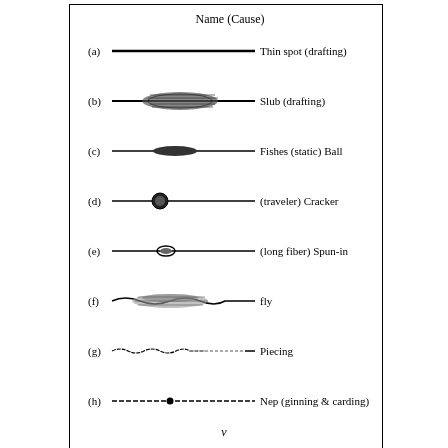[Figure (illustration): Diagram showing 8 different yarn faults (a) through (h), each illustrated with a horizontal line showing the fault type, labeled with Name (Cause): (a) Thin spot (drafting), (b) Slub (drafting), (c) Fishes (static) Ball, (d) (traveler) Cracker, (e) (long fiber) Spun-in, (f) fly, (g) Piecing, (h) Nep (ginning & carding)]
Different Yarn Faults Lead to Outliers
v